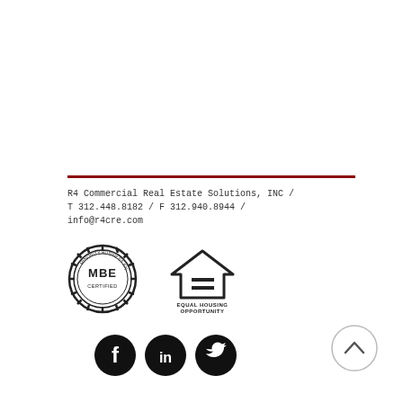R4 Commercial Real Estate Solutions, INC / T 312.448.8182 / F 312.940.8944 / info@r4cre.com
[Figure (logo): MBE Certified badge (circular stamp design with 'MBE' text in center)]
[Figure (logo): Equal Housing Opportunity logo (house icon with equals sign and text 'EQUAL HOUSING OPPORTUNITY')]
[Figure (logo): Facebook social media icon (circular black button with white 'f' logo)]
[Figure (logo): LinkedIn social media icon (circular black button with white 'in' logo)]
[Figure (logo): Twitter social media icon (circular black button with white bird logo)]
[Figure (other): Scroll-to-top button (circle with upward chevron arrow)]